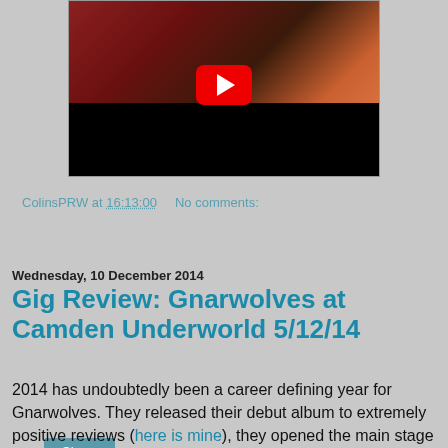[Figure (screenshot): YouTube video thumbnail showing a video player with a red YouTube play button overlaid on a dark scene with people in red clothing.]
ColinsPRW at 16:13:00    No comments:
Share
Wednesday, 10 December 2014
Gig Review: Gnarwolves at Camden Underworld 5/12/14
2014 has undoubtedly been a career defining year for Gnarwolves. They released their debut album to extremely positive reviews (here is mine), they opened the main stage